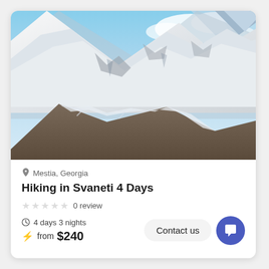[Figure (photo): Aerial photograph of snow-covered mountain peaks with rocky terrain and glaciers, Svaneti region, Georgia]
Mestia, Georgia
Hiking in Svaneti 4 Days
0 review
4 days 3 nights
from $240
Contact us